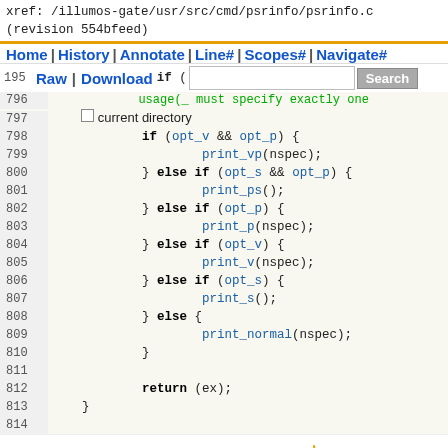xref: /illumos-gate/usr/src/cmd/psrinfo/psrinfo.c
(revision 554bfeed)
Home | History | Annotate | Line# | Scopes# | Navigate#
195 Raw | Download if ( [Search]  usage(_ must specify exactly one
796
797 current directory
}
[Figure (screenshot): Source code viewer showing lines 798-814 of psrinfo.c with syntax highlighting. Code shows if/else if chain for opt_v, opt_p, opt_s options calling print_vp, print_ps, print_p, print_v, print_s, print_normal functions, ending with return (ex); and closing brace.]
served by {OpenGrok} on Java
Last Index update Tue Jul 12 07:04:25 UTC 2022